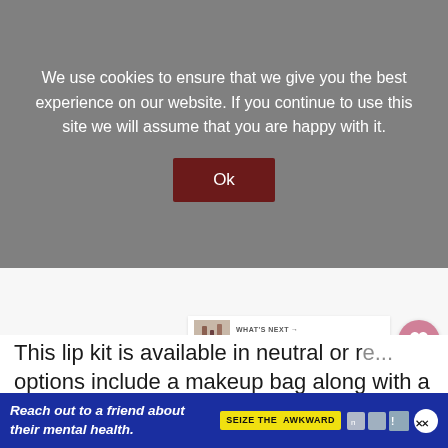We use cookies to ensure that we give you the best experience on our website. If you continue to use this site we will assume that you are happy with it.
Ok
[Figure (screenshot): White content area with heart (favorite) button and share button on the right side, and a 'What's Next' promo panel showing 'The Best Drugstore...']
This lip kit is available in neutral or re... options include a makeup bag along with a lip li... edition
[Figure (infographic): Blue advertisement banner reading 'Reach out to a friend about their mental health.' with 'SEIZE THE AWKWARD' yellow badge and sponsor logos]